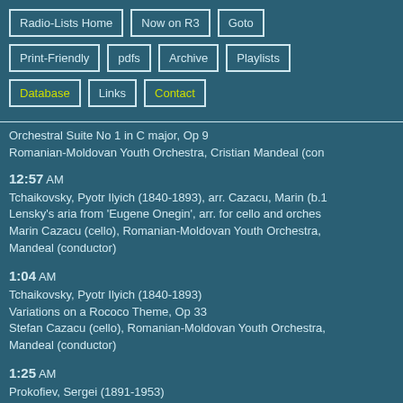Radio-Lists Home
Now on R3
Goto
Print-Friendly
pdfs
Archive
Playlists
Database
Links
Contact
Orchestral Suite No 1 in C major, Op 9
Romanian-Moldovan Youth Orchestra, Cristian Mandeal (con
12:57 AM
Tchaikovsky, Pyotr Ilyich (1840-1893), arr. Cazacu, Marin (b.1
Lensky's aria from 'Eugene Onegin', arr. for cello and orches
Marin Cazacu (cello), Romanian-Moldovan Youth Orchestra, Mandeal (conductor)
1:04 AM
Tchaikovsky, Pyotr Ilyich (1840-1893)
Variations on a Rococo Theme, Op 33
Stefan Cazacu (cello), Romanian-Moldovan Youth Orchestra, Mandeal (conductor)
1:25 AM
Prokofiev, Sergei (1891-1953)